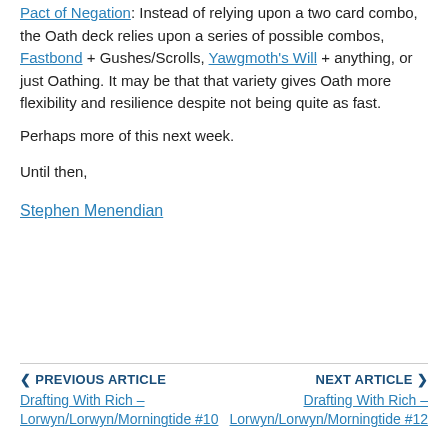Pact of Negation: Instead of relying upon a two card combo, the Oath deck relies upon a series of possible combos, Fastbond + Gushes/Scrolls, Yawgmoth's Will + anything, or just Oathing. It may be that that variety gives Oath more flexibility and resilience despite not being quite as fast.
Perhaps more of this next week.
Until then,
Stephen Menendian
PREVIOUS ARTICLE | Drafting With Rich – Lorwyn/Lorwyn/Morningtide #10 | NEXT ARTICLE | Drafting With Rich – Lorwyn/Lorwyn/Morningtide #12